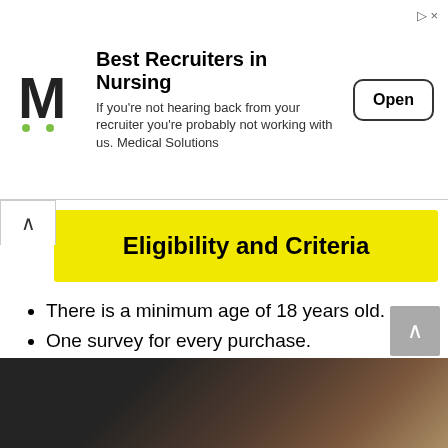[Figure (screenshot): Advertisement banner for Medical Solutions nursing recruiter service with 'M' logo, title 'Best Recruiters in Nursing', subtitle text, and Open button]
Eligibility and Criteria
There is a minimum age of 18 years old.
One survey for every purchase.
To redeem, you must present a receipt and a validation code.
There can be no prize exchanges.
Employees of the company are not allowed to apply.
[Figure (photo): Dark photograph showing bowls and objects on a table, partially visible at the bottom of the page]